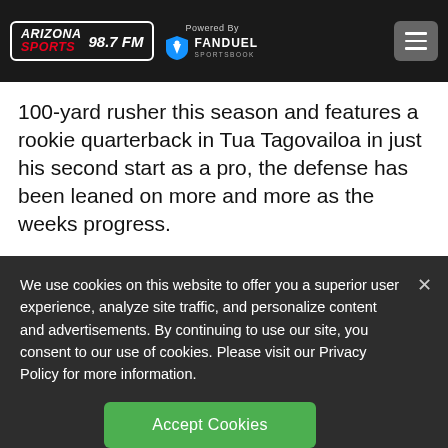Arizona Sports 98.7 FM — Powered By FanDuel Sportsbook
100-yard rusher this season and features a rookie quarterback in Tua Tagovailoa in just his second start as a pro, the defense has been leaned on more and more as the weeks progress.
We use cookies on this website to offer you a superior user experience, analyze site traffic, and personalize content and advertisements. By continuing to use our site, you consent to our use of cookies. Please visit our Privacy Policy for more information.
Accept Cookies